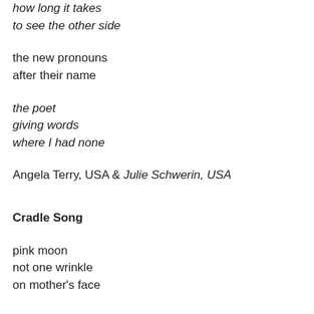how long it takes
to see the other side
the new pronouns
after their name
the poet
giving words
where I had none
Angela Terry, USA & Julie Schwerin, USA
Cradle Song
pink moon
not one wrinkle
on mother's face